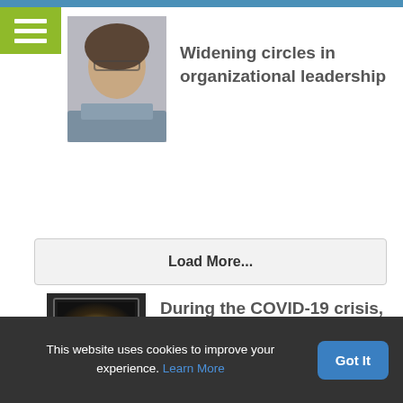[Figure (photo): Green hamburger menu icon on green background, top left corner]
[Figure (photo): Portrait photo of a woman with glasses and short dark hair wearing a grey top]
Widening circles in organizational leadership
[Figure (photo): Dark image of a laptop or computer screen glowing in a dim environment]
During the COVID-19 crisis, restorative practices can help
Load More...
This website uses cookies to improve your experience. Learn More
Got It